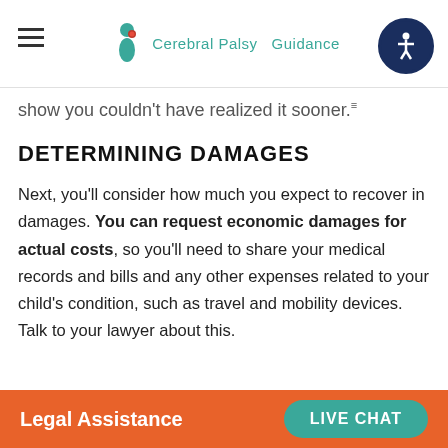Cerebral Palsy Guidance
show you couldn't have realized it sooner.
DETERMINING DAMAGES
Next, you'll consider how much you expect to recover in damages. You can request economic damages for actual costs, so you'll need to share your medical records and bills and any other expenses related to your child's condition, such as travel and mobility devices. Talk to your lawyer about this.
Legal Assistance   LIVE CHAT